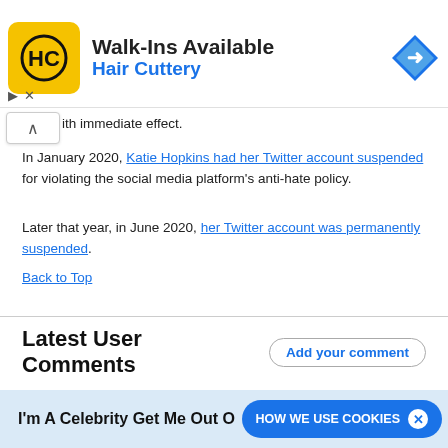[Figure (other): Hair Cuttery advertisement banner with logo, 'Walk-Ins Available' text, and navigation arrow icon]
ith immediate effect.
In January 2020, Katie Hopkins had her Twitter account suspended for violating the social media platform's anti-hate policy.
Later that year, in June 2020, her Twitter account was permanently suspended.
Back to Top
Latest User Comments
I'm A Celebrity Get Me Out O